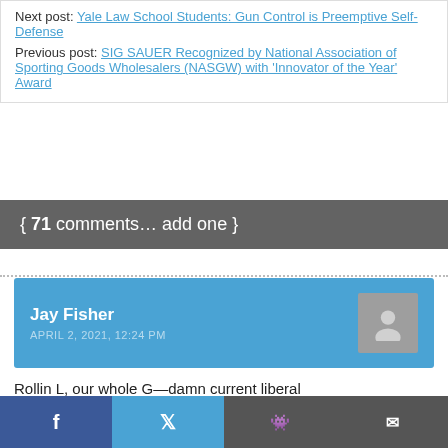Next post: Yale Law School Students: Gun Control is Preemptive Self-Defense
Previous post: SIG SAUER Recognized by National Association of Sporting Goods Wholesalers (NASGW) with 'Innovator of the Year' Award
{ 71 comments… add one }
Jay Fisher
APRIL 2, 2021, 12:24 PM
Rollin L, our whole G—damn current liberal of the law! They don't ey can do whatever they